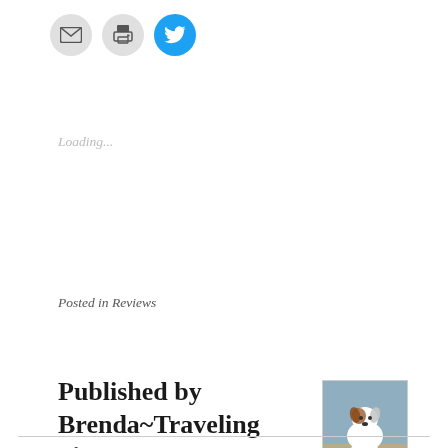[Figure (illustration): Three circular icon buttons: envelope (email), printer, and Twitter bird (blue background)]
Loading...
Posted in Reviews
Published by Brenda~Traveling Sister
[Figure (photo): Small photo of a white and brown dog sitting on steps outdoors]
View all posts by Brenda~Traveling Sister